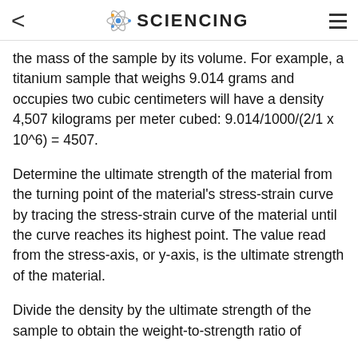SCIENCING
the mass of the sample by its volume. For example, a titanium sample that weighs 9.014 grams and occupies two cubic centimeters will have a density 4,507 kilograms per meter cubed: 9.014/1000/(2/1 x 10^6) = 4507.
Determine the ultimate strength of the material from the turning point of the material's stress-strain curve by tracing the stress-strain curve of the material until the curve reaches its highest point. The value read from the stress-axis, or y-axis, is the ultimate strength of the material.
Divide the density by the ultimate strength of the sample to obtain the weight-to-strength ratio of